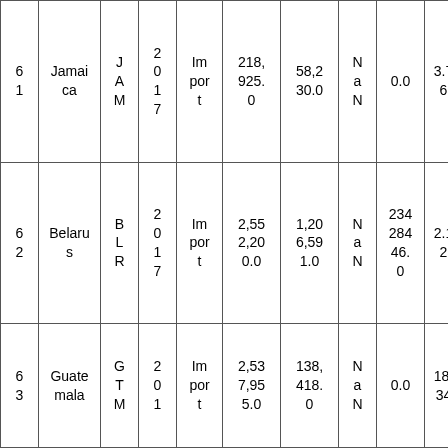| 6 1 | Jamaica | J A M | 2 0 1 7 | Im por t | 218, 925. 0 | 58,2 30.0 | N a N | 0.0 | 3.7 6 |
| 6 2 | Belarus | B L R | 2 0 1 7 | Im por t | 2,55 2,20 0.0 | 1,20 6,59 1.0 | N a N | 234 284 46. 0 | 2.1 2 |
| 6 3 | Guatemala | G T M | 2 0 1 | Im por t | 2,53 7,95 5.0 | 138, 418. 0 | N a N | 0.0 | 18. 34 |